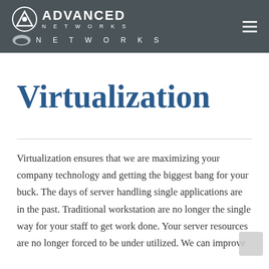ADVANCED NETWORKS / NETWORKS
Virtualization
Virtualization ensures that we are maximizing your company technology and getting the biggest bang for your buck. The days of server handling single applications are in the past. Traditional workstation are no longer the single way for your staff to get work done. Your server resources are no longer forced to be under utilized. We can improve